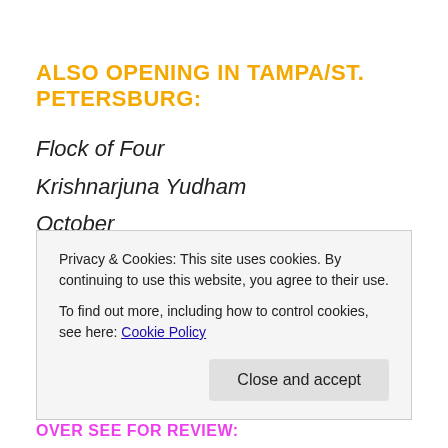ALSO OPENING IN TAMPA/ST. PETERSBURG:
Flock of Four
Krishnarjuna Yudham
October
ALSO OPENING IN JACKSONVILLE/ST. AUGUSTINE:
Fanny...
Privacy & Cookies: This site uses cookies. By continuing to use this website, you agree to their use. To find out more, including how to control cookies, see here: Cookie Policy
Close and accept
OVER SEE FOR REVIEW: